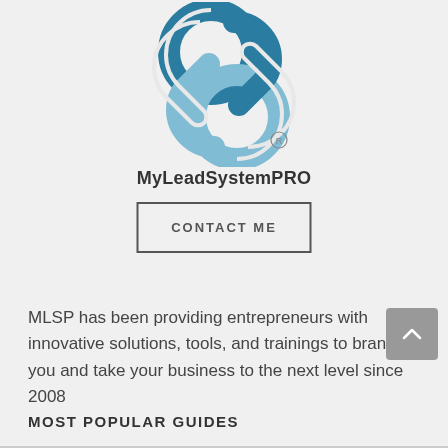[Figure (logo): MyLeadSystemPRO interlocking chain-link logo in blue tones with registered trademark symbol]
MyLeadSystemPRO
CONTACT ME
MLSP has been providing entrepreneurs with innovative solutions, tools, and trainings to brand you and take your business to the next level since 2008
MOST POPULAR GUIDES